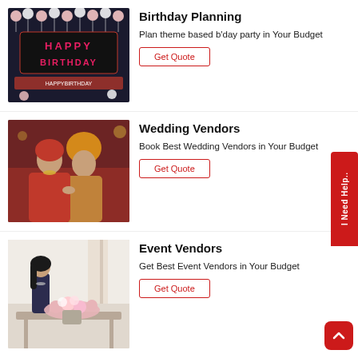[Figure (photo): Birthday party decoration with 'Happy Birthday' balloon letters and pink/white balloons on dark background]
Birthday Planning
Plan theme based b'day party in Your Budget
Get Quote
[Figure (photo): Indian wedding couple in traditional attire, bride and groom in ceremonial dress]
Wedding Vendors
Book Best Wedding Vendors in Your Budget
Get Quote
[Figure (photo): Woman in dark top arranging flowers at a table with floral decorations]
Event Vendors
Get Best Event Vendors in Your Budget
Get Quote